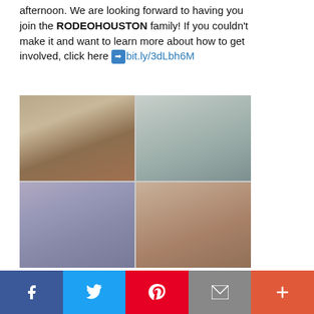afternoon. We are looking forward to having you join the RODEOHOUSTON family! If you couldn't make it and want to learn more about how to get involved, click here ➡ bit.ly/3dLbh6M
[Figure (photo): Four-photo grid showing indoor convention/fair event with people networking at vendor tables. Top-left: woman at red-tablecloth table with man in cowboy hat. Top-right: people conversing at vendor booth with balloons. Bottom-left: group of people at colorful table with balloons. Bottom-right: people at table with man in orange baseball cap.]
f  Twitter  Pinterest  Email  +